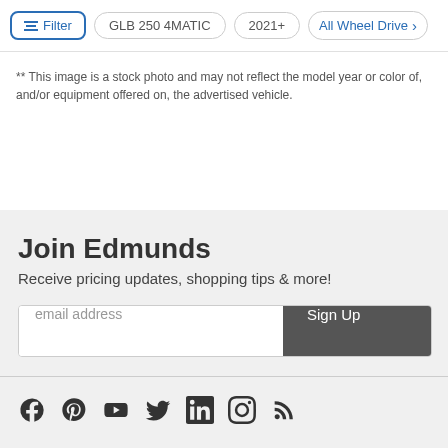Filter | GLB 250 4MATIC | 2021+ | All Wheel Drive
** This image is a stock photo and may not reflect the model year or color of, and/or equipment offered on, the advertised vehicle.
Join Edmunds
Receive pricing updates, shopping tips & more!
email address | Sign Up